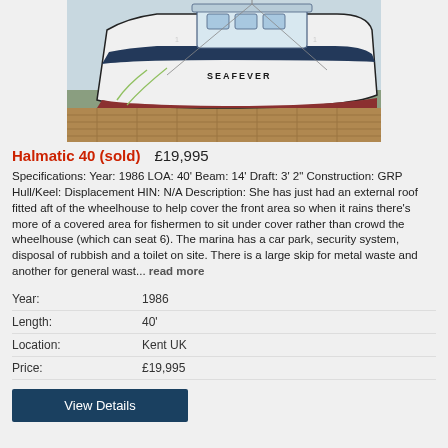[Figure (photo): Photo of a white motorboat named SEAFEVER docked at a marina, viewed from the bow/side angle showing the hull, cabin/wheelhouse with blue trim, and dock boards in the background.]
Halmatic 40 (sold)   £19,995
Specifications: Year: 1986 LOA: 40' Beam: 14' Draft: 3' 2" Construction: GRP Hull/Keel: Displacement HIN: N/A Description: She has just had an external roof fitted aft of the wheelhouse to help cover the front area so when it rains there's more of a covered area for fishermen to sit under cover rather than crowd the wheelhouse (which can seat 6). The marina has a car park, security system, disposal of rubbish and a toilet on site. There is a large skip for metal waste and another for general wast... read more
| Field | Value |
| --- | --- |
| Year: | 1986 |
| Length: | 40' |
| Location: | Kent UK |
| Price: | £19,995 |
View Details